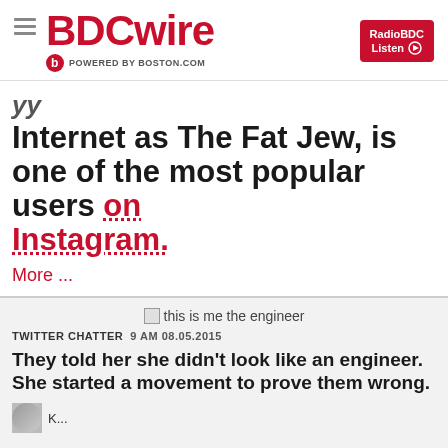BDCwire — POWERED BY BOSTON.COM — RadioBDC Listen
Internet as The Fat Jew, is one of the most popular users on Instagram.
More ...
this is me the engineer
TWITTER CHATTER   9 AM 08.05.2015
They told her she didn't look like an engineer. She started a movement to prove them wrong.